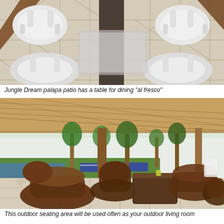[Figure (photo): Aerial/overhead view of a white plastic outdoor table and chairs on a mosaic patio floor, Jungle Dream palapa patio]
Jungle Dream palapa patio has a table for dining "al fresco"
[Figure (photo): Outdoor seating area under a palapa/thatched roof with rustic wooden/wicker chairs and table, lush tropical garden and pool with blue lounge chairs in background]
This outdoor seating area will be used often as your outdoor living room